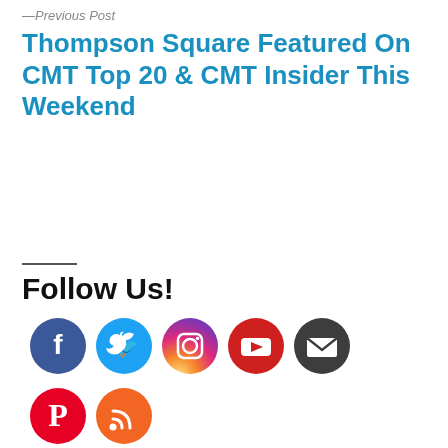—Previous Post
Thompson Square Featured On CMT Top 20 & CMT Insider This Weekend
Follow Us!
[Figure (infographic): Social media icons row 1: Facebook (blue), Twitter (light blue), Instagram (gradient purple-orange), YouTube (red), Email/envelope (dark grey)]
[Figure (infographic): Social media icons row 2: Pinterest (red), RSS (orange)]